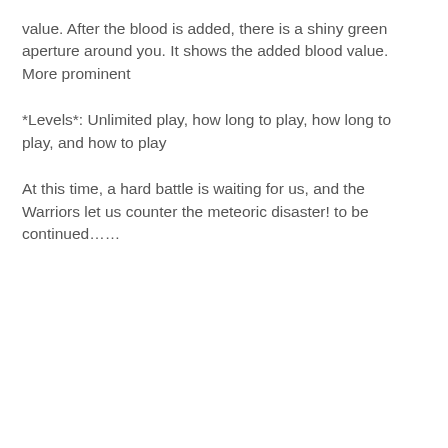value. After the blood is added, there is a shiny green aperture around you. It shows the added blood value. More prominent
*Levels*: Unlimited play, how long to play, how long to play, and how to play
At this time, a hard battle is waiting for us, and the Warriors let us counter the meteoric disaster! to be continued……